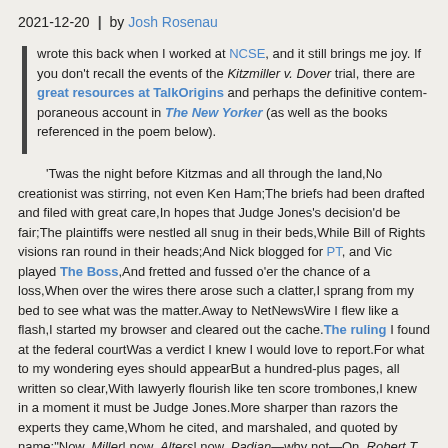2021-12-20  |  by Josh Rosenau
wrote this back when I worked at NCSE, and it still brings me joy. If you don't recall the events of the Kitzmiller v. Dover trial, there are great resources at TalkOrigins and perhaps the definitive contemporaneous account in The New Yorker (as well as the books referenced in the poem below).
'Twas the night before Kitzmas and all through the land,No creationist was stirring, not even Ken Ham;The briefs had been drafted and filed with great care,In hopes that Judge Jones's decision'd be fair;The plaintiffs were nestled all snug in their beds,While Bill of Rights visions ran round in their heads;And Nick blogged for PT, and Vic played The Boss,And fretted and fussed o'er the chance of a loss,When over the wires there arose such a clatter,I sprang from my bed to see what was the matter.Away to NetNewsWire I flew like a flash,I started my browser and cleared out the cache.The ruling I found at the federal courtWas a verdict I knew I would love to report.For what to my wondering eyes should appearBut a hundred-plus pages, all written so clear,With lawyerly flourish like ten score trombones,I knew in a moment it must be Judge Jones.More sharper than razors the experts they came,Whom he cited, and marshaled, and quoted by name:"Now, Miller! now, Alters! now, Padian—why not—On, Robert T. Pennock! on, Forrest and Haught!The Establishment Clause says that Pandas must go,ID isn't science; heck, Fuller says so!'The case had been brought in a federal courtWhen the Dover school board thought it wise to consortWith Disco. 'tute shysters who sold them a line:"Don't call it creation, but ID should be fine."As rats that behind the Pied